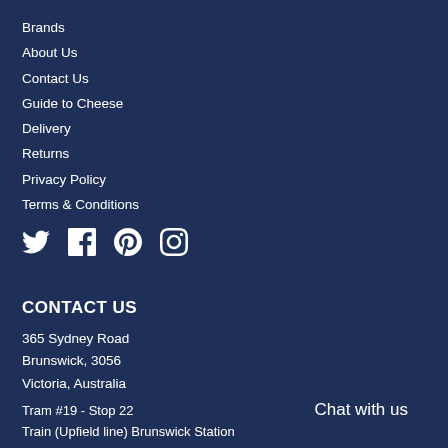Brands
About Us
Contact Us
Guide to Cheese
Delivery
Returns
Privacy Policy
Terms & Conditions
[Figure (illustration): Social media icons: Twitter, Facebook, Pinterest, Instagram]
CONTACT US
365 Sydney Road
Brunswick, 3056
Victoria, Australia
Tram #19 - Stop 22
Train (Upfield line) Brunswick Station
Chat with us